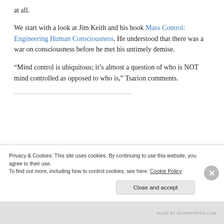at all.
We start with a look at Jim Keith and his book Mass Control: Engineering Human Consciousness. He understood that there was a war on consciousness before he met his untimely demise.
“Mind control is ubiquitous; it’s almost a question of who is NOT mind controlled as opposed to who is,” Tsarion comments.
(partial text, partially obscured by cookie banner)
Privacy & Cookies: This site uses cookies. By continuing to use this website, you agree to their use. To find out more, including how to control cookies, see here: Cookie Policy
Close and accept